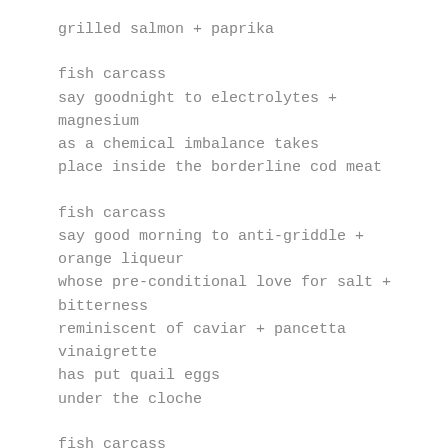grilled salmon + paprika
fish carcass
say goodnight to electrolytes +
magnesium
as a chemical imbalance takes
place inside the borderline cod meat
fish carcass
say good morning to anti-griddle +
orange liqueur
whose pre-conditional love for salt +
bitterness
reminiscent of caviar + pancetta
vinaigrette
has put quail eggs
under the cloche
fish carcass
say midday to emu eggs while